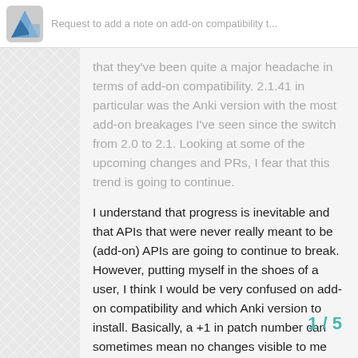Request to add a note on add-on compatibility t...
that they've been quite a major headache in terms of add-on compatibility. 2.1.41 in particular was the Anki version with the most add-on breakages I've seen since the switch from 2.0 to 2.1. Looking at some of the upcoming changes and PRs, I fear that this trend is going to continue.
I understand that progress is inevitable and that APIs that were never really meant to be (add-on) APIs are going to continue to break. However, putting myself in the shoes of a user, I think I would be very confused on add-on compatibility and which Anki version to install. Basically, a +1 in patch number can sometimes mean no changes visible to me whatsoever, or my entire add-on workflow breaking.
Personally, what I usually try
1 / 5